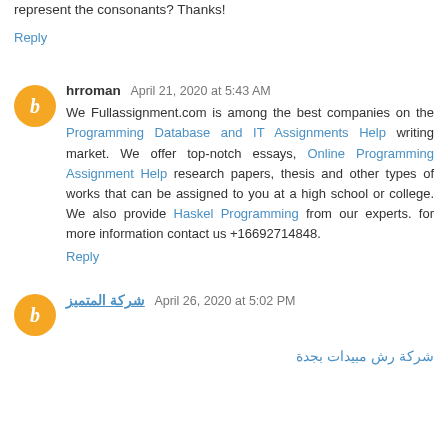represent the consonants? Thanks!
Reply
hrroman  April 21, 2020 at 5:43 AM
We Fullassignment.com is among the best companies on the Programming Database and IT Assignments Help writing market. We offer top-notch essays, Online Programming Assignment Help research papers, thesis and other types of works that can be assigned to you at a high school or college. We also provide Haskel Programming from our experts. for more information contact us +16692714848.
Reply
شركة المتميز  April 26, 2020 at 5:02 PM
شركة رش مبيدات بجدة